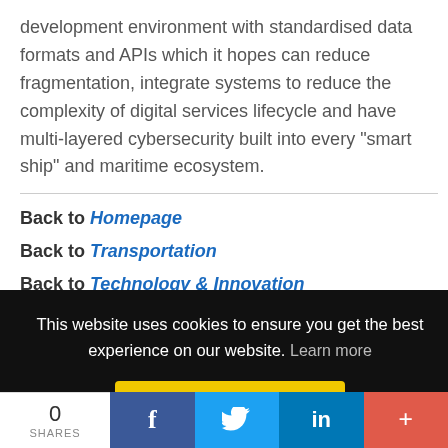development environment with standardised data formats and APIs which it hopes can reduce fragmentation, integrate systems to reduce the complexity of digital services lifecycle and have multi-layered cybersecurity built into every "smart ship" and maritime ecosystem.
Back to Homepage
Back to Transportation
Back to Technology & Innovation
This website uses cookies to ensure you get the best experience on our website. Learn more
Got it!
0 SHARES  f  [Twitter]  in  +